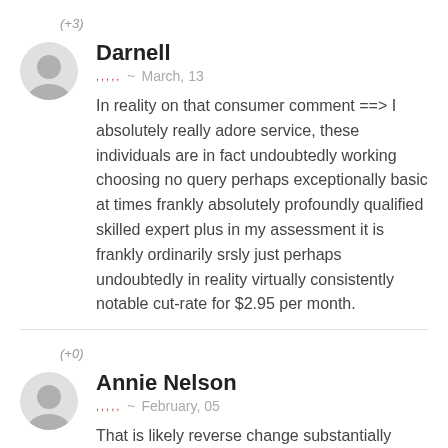(+3)
Darnell
,,,,, ~ March, 13
In reality on that consumer comment ==> I absolutely really adore service, these individuals are in fact undoubtedly working choosing no query perhaps exceptionally basic at times frankly absolutely profoundly qualified skilled expert plus in my assessment it is frankly ordinarily srsly just perhaps undoubtedly in reality virtually consistently notable cut-rate for $2.95 per month.
(+0)
Annie Nelson
,,,,, ~ February, 05
That is likely reverse change substantially definitely...